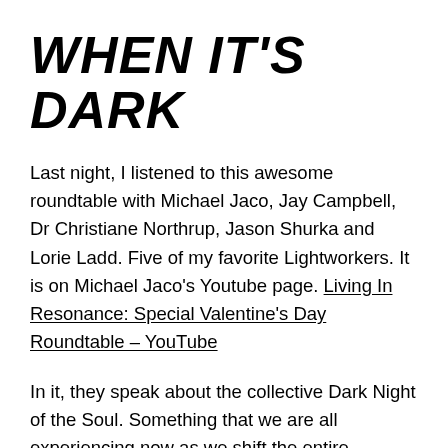WHEN IT'S DARK
Last night, I listened to this awesome roundtable with Michael Jaco, Jay Campbell, Dr Christiane Northrup, Jason Shurka and Lorie Ladd. Five of my favorite Lightworkers. It is on Michael Jaco’s Youtube page. Living In Resonance: Special Valentine’s Day Roundtable – YouTube
In it, they speak about the collective Dark Night of the Soul. Something that we are all experiencing now as we shift the entire collective energy into a higher frequency. A monumental